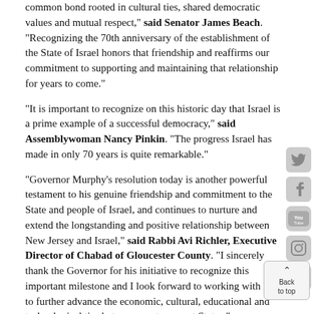common bond rooted in cultural ties, shared democratic values and mutual respect," said Senator James Beach. "Recognizing the 70th anniversary of the establishment of the State of Israel honors that friendship and reaffirms our commitment to supporting and maintaining that relationship for years to come."
"It is important to recognize on this historic day that Israel is a prime example of a successful democracy," said Assemblywoman Nancy Pinkin. "The progress Israel has made in only 70 years is quite remarkable."
"Governor Murphy's resolution today is another powerful testament to his genuine friendship and commitment to the State and people of Israel, and continues to nurture and extend the longstanding and positive relationship between New Jersey and Israel," said Rabbi Avi Richler, Executive Director of Chabad of Gloucester County. "I sincerely thank the Governor for his initiative to recognize this important milestone and I look forward to working with him to further advance the economic, cultural, educational and technological ties between our two great States."
"On behalf of the NJ State Association of Jewish Federations, I gratefully acknowledge Governor Phil Murphy and the NJ State Legislature for standing side by side with the people of Israel in recognizing Israel's seven decades of statehood, democracy, accomplishments shared with and of significant benefit to the world," said Jacob Toporek, Executive Director of the N.J. State Association of Jewish Federations. "Additionally, we are thankful